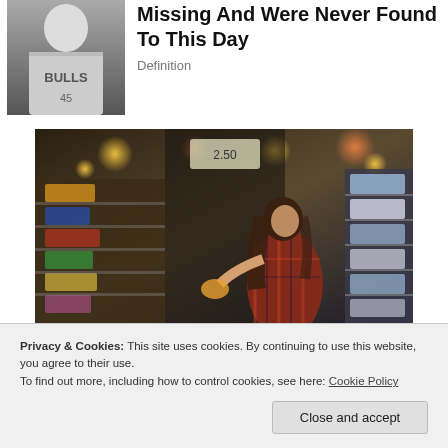[Figure (photo): Black and white photo of a person wearing a Chicago Bulls basketball jersey]
Missing And Were Never Found To This Day
Definition
[Figure (photo): Woman in a plaid shirt browsing products on shelves in a grocery or retail store, with bokeh lights in the background]
Privacy & Cookies: This site uses cookies. By continuing to use this website, you agree to their use.
To find out more, including how to control cookies, see here: Cookie Policy
Close and accept